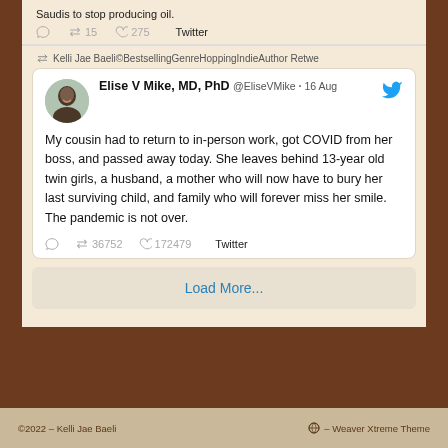Saudis to stop producing oil.
15 retweets  275 likes  Twitter
Kelli Jae Baeli©BestsellingGenreHoppingIndieAuthor Retwe
Elise V Mike, MD, PhD @EliseVMike · 16 Aug
My cousin had to return to in-person work, got COVID from her boss, and passed away today. She leaves behind 13-year old twin girls, a husband, a mother who will now have to bury her last surviving child, and family who will forever miss her smile. The pandemic is not over.
36752 retweets  172479 likes  Twitter
Load More...
©2022 – Kelli Jae Baeli  – Weaver Xtreme Theme